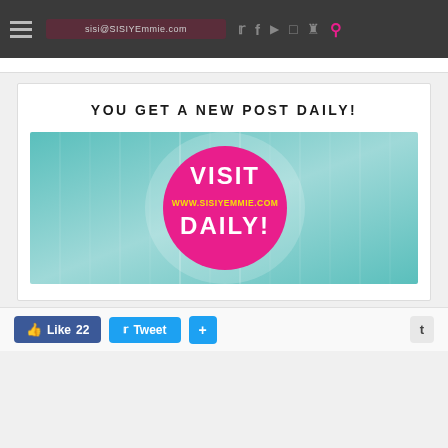sisi@sisiyemmie.com navigation bar with social icons
YOU GET A NEW POST DAILY!
[Figure (illustration): Teal glowing background banner with a pink circle in the center. The circle contains text: VISIT (white), www.sisiyemmie.com (yellow), DAILY! (white). Text in the circle reads: VISIT www.SISIYEMMIE.COM DAILY!]
Like 22  Tweet  +  t